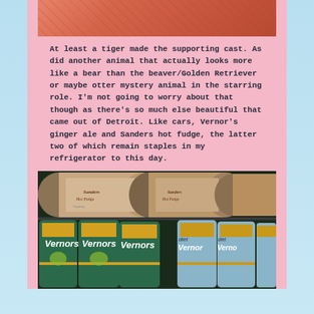[Figure (photo): Top portion of a decorative image with orange-red tones and subtle pattern, partially visible at top of page]
At least a tiger made the supporting cast. As did another animal that actually looks more like a bear than the beaver/Golden Retriever or maybe otter mystery animal in the starring role. I’m not going to worry about that though as there’s so much else beautiful that came out of Detroit. Like cars, Vernor’s ginger ale and Sanders hot fudge, the latter two of which remain staples in my refrigerator to this day.
[Figure (photo): Photo of Vernor's ginger ale cans stacked in a refrigerator, showing both lying cans on top and upright cans on the bottom shelf, including regular Vernor's and Diet Vernor's]